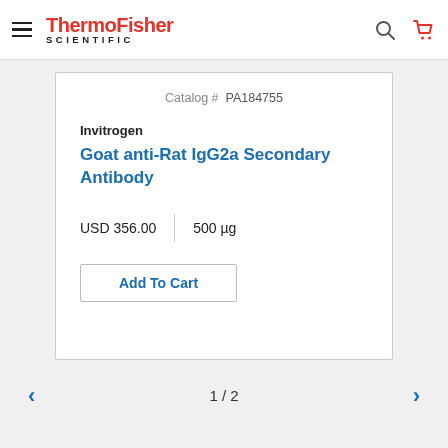ThermoFisher SCIENTIFIC
Catalog # PA184755
Invitrogen
Goat anti-Rat IgG2a Secondary Antibody
USD 356.00 | 500 µg
Add To Cart
1 / 2